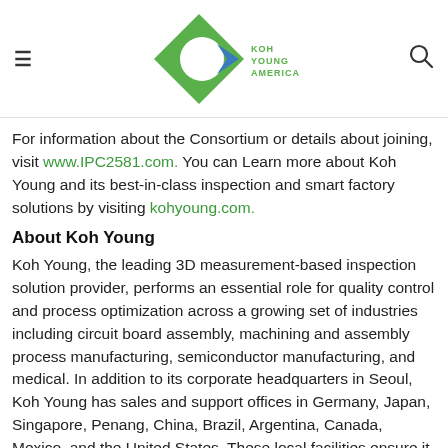Koh Young America logo header with hamburger menu and search icon
For information about the Consortium or details about joining, visit www.IPC2581.com. You can Learn more about Koh Young and its best-in-class inspection and smart factory solutions by visiting kohyoung.com.
About Koh Young
Koh Young, the leading 3D measurement-based inspection solution provider, performs an essential role for quality control and process optimization across a growing set of industries including circuit board assembly, machining and assembly process manufacturing, semiconductor manufacturing, and medical. In addition to its corporate headquarters in Seoul, Koh Young has sales and support offices in Germany, Japan, Singapore, Penang, China, Brazil, Argentina, Canada, Mexico, and the United States. These local facilities ensure it keeps a close relationship with its growing customer base and system